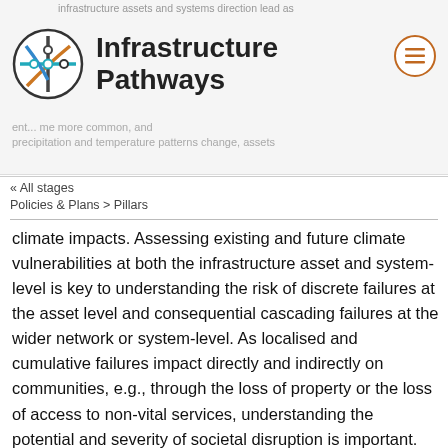infrastructure assets and systems direction lead as
[Figure (logo): Infrastructure Pathways circular logo with colored lines representing transport/infrastructure network]
Infrastructure Pathways
[Figure (other): Hamburger menu icon in orange circle]
ent... me more common, and precipitation and temperature patterns change, assets
« All stages
Policies & Plans > Pillars
climate impacts. Assessing existing and future climate vulnerabilities at both the infrastructure asset and system-level is key to understanding the risk of discrete failures at the asset level and consequential cascading failures at the wider network or system-level. As localised and cumulative failures impact directly and indirectly on communities, e.g., through the loss of property or the loss of access to non-vital services, understanding the potential and severity of societal disruption is important. By identifying potentially disruptive weaknesses within existing assets and systems, adaptive measures can be introduced retrospectively. For example, these measures could seek to;